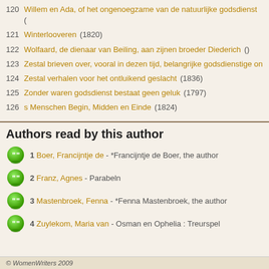120 Willem en Ada, of het ongenoegzame van de natuurlijke godsdienst (
121 Winterlooveren (1820)
122 Wolfaard, de dienaar van Beiling, aan zijnen broeder Diederich ()
123 Zestal brieven over, vooral in dezen tijd, belangrijke godsdienstige on
124 Zestal verhalen voor het ontluikend geslacht (1836)
125 Zonder waren godsdienst bestaat geen geluk (1797)
126 s Menschen Begin, Midden en Einde (1824)
Authors read by this author
1 Boer, Francijntje de - *Francijntje de Boer, the author
2 Franz, Agnes - Parabeln
3 Mastenbroek, Fenna - *Fenna Mastenbroek, the author
4 Zuylekom, Maria van - Osman en Ophelia : Treurspel
© WomenWriters 2009